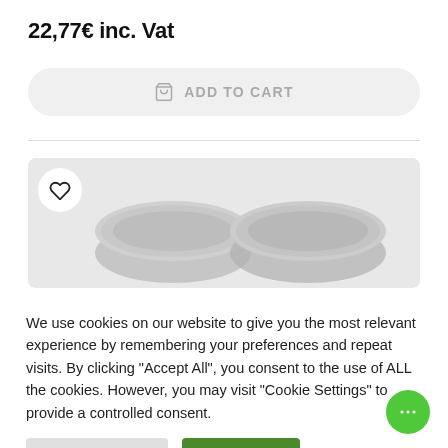22,77€ inc. Vat
ADD TO CART
[Figure (photo): Two metallic circular product lids/jars shown partially at the bottom of the product image area, with a heart/wishlist button overlay on the left.]
We use cookies on our website to give you the most relevant experience by remembering your preferences and repeat visits. By clicking "Accept All", you consent to the use of ALL the cookies. However, you may visit "Cookie Settings" to provide a controlled consent.
Cookie Settings
Accept All